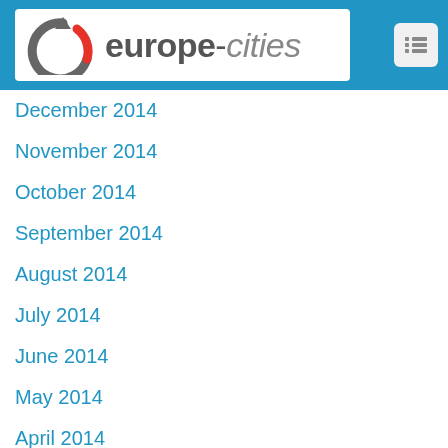[Figure (logo): europe-cities website logo with circular arrow icon in gray and red]
December 2014
November 2014
October 2014
September 2014
August 2014
July 2014
June 2014
May 2014
April 2014
March 2014